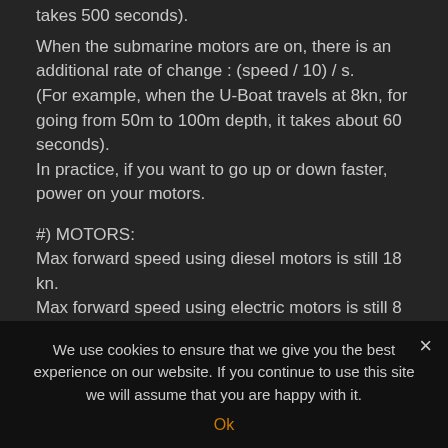takes 500 seconds).
When the submarine motors are on, there is an additional rate of change : (speed / 10) / s.
(For example, when the U-Boat travels at 8kn, for going from 50m to 100m depth, it takes about 60 seconds).
In practice, if you want to go up or down faster, power on your motors.
#) MOTORS:
Max forward speed using diesel motors is still 18 kn.
Max forward speed using electric motors is still 8 kn.
Max backwards speed using diesel motors is now 12
We use cookies to ensure that we give you the best experience on our website. If you continue to use this site we will assume that you are happy with it.
Ok